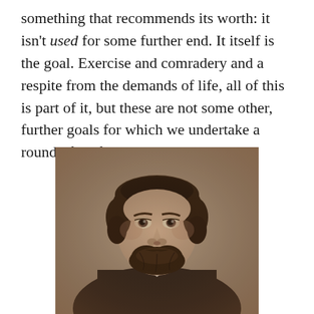something that recommends its worth: it isn't used for some further end. It itself is the goal. Exercise and comradery and a respite from the demands of life, all of this is part of it, but these are not some other, further goals for which we undertake a round of golf.
[Figure (photo): Sepia-toned historical portrait photograph of a man with dark wavy hair and a beard, wearing a dark jacket with a white collar, facing forward with a serious expression. Likely a 19th-century portrait.]